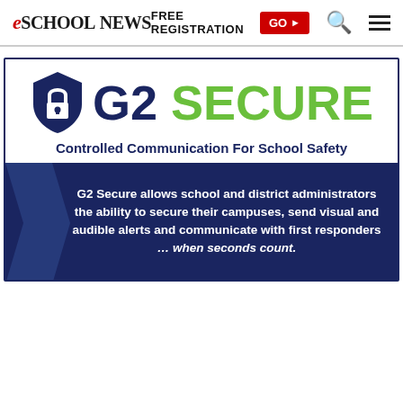eSchool News  FREE REGISTRATION  GO ►
[Figure (infographic): G2 Secure advertisement. Shows a shield/lock icon beside the G2 Secure logo (G2 in dark navy, SECURE in green). Subtitle: 'Controlled Communication For School Safety'. Dark navy banner with text: 'G2 Secure allows school and district administrators the ability to secure their campuses, send visual and audible alerts and communicate with first responders ... when seconds count.']